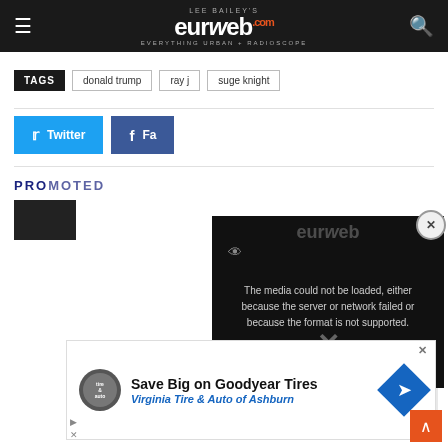Lee Bailey's eurweb.com — EVERYTHING URBAN + RADIOSCOPE
TAGS   donald trump   ray j   suge knight
Twitter
Facebook
PROMOTED
[Figure (screenshot): Video player overlay with error message: The media could not be loaded, either because the server or network failed or because the format is not supported.]
[Figure (screenshot): Advertisement overlay: Save Big on Goodyear Tires — Virginia Tire & Auto of Ashburn]